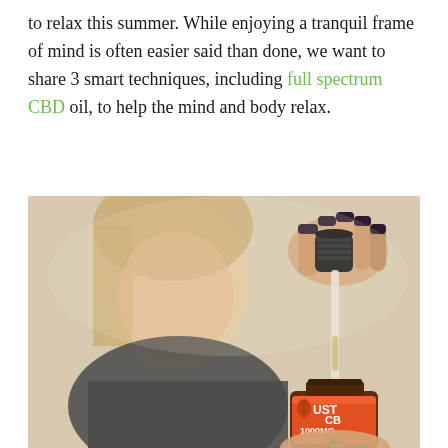to relax this summer. While enjoying a tranquil frame of mind is often easier said than done, we want to share 3 smart techniques, including full spectrum CBD oil, to help the mind and body relax.
[Figure (photo): A blurred smiling woman holding a dropper above a JustCBD 1000MG tincture bottle, with the dropper tip close to the open bottle.]